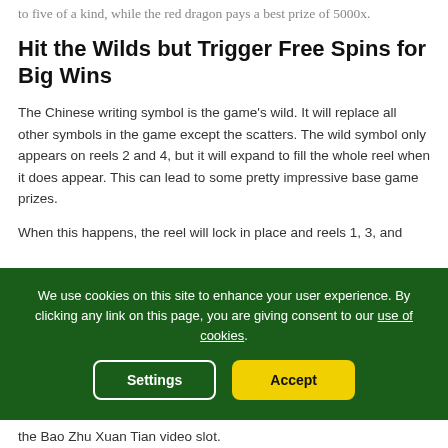to five of a kind, while the red dragon pays a best prize of 5000x.
Hit the Wilds but Trigger Free Spins for Big Wins
The Chinese writing symbol is the game's wild. It will replace all other symbols in the game except the scatters. The wild symbol only appears on reels 2 and 4, but it will expand to fill the whole reel when it does appear. This can lead to some pretty impressive base game prizes.
When this happens, the reel will lock in place and reels 1, 3, and 5 will re-spin in the hope that the player will win with a respin.
We use cookies on this site to enhance your user experience. By clicking any link on this page, you are giving consent to our use of cookies.
the Bao Zhu Xuan Tian video slot.